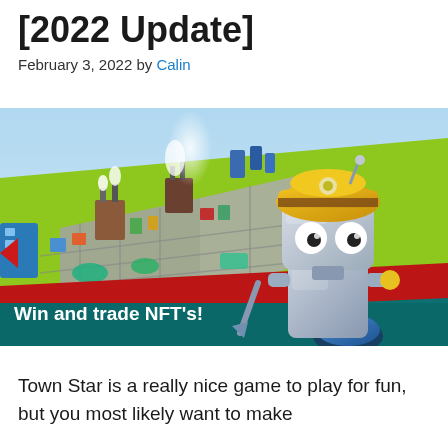[2022 Update]
February 3, 2022 by Calin
[Figure (photo): Screenshot of Town Star game showing an isometric city-building view with roads, factories and buildings, alongside a 3D robot character wearing a yellow mining helmet. Text overlay reads 'Win and trade NFT's!']
Town Star is a really nice game to play for fun, but you most likely want to make